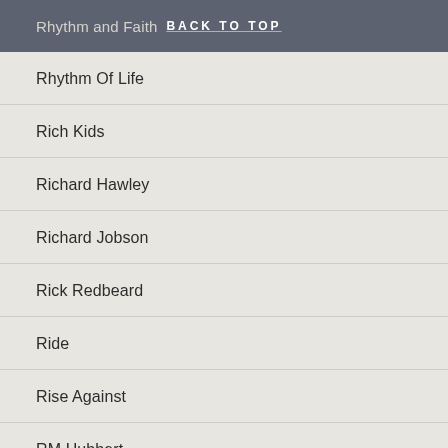Rhythm and Faith | BACK TO TOP
Rhythm Of Life
Rich Kids
Richard Hawley
Richard Jobson
Rick Redbeard
Ride
Rise Against
RM Hubbert
RM Hubbert & Emma Pollock
Robert Forster
Robert Lloyd
Robert Palmer